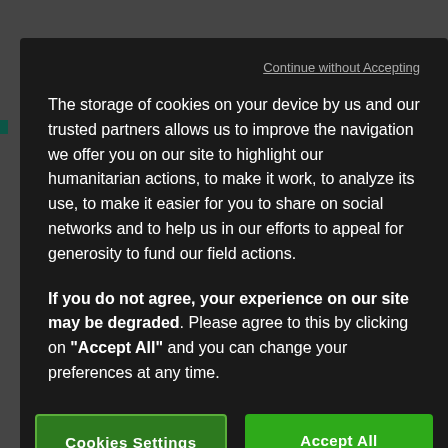Continue without Accepting
The storage of cookies on your device by us and our trusted partners allows us to improve the navigation we offer you on our site to highlight our humanitarian actions, to make it work, to analyze its use, to make it easier for you to share on social networks and to help us in our efforts to appeal for generosity to fund our field actions.
If you do not agree, your experience on our site may be degraded. Please agree to this by clicking on "Accept All" and you can change your preferences at any time.
Cookies Settings
Accept All Cookies
Reference Study 2006). Conclusions: Severe wasting appeared as one of the leading cause of death among under-fives: it had a high incidence (about 2% per child-semester), long duration